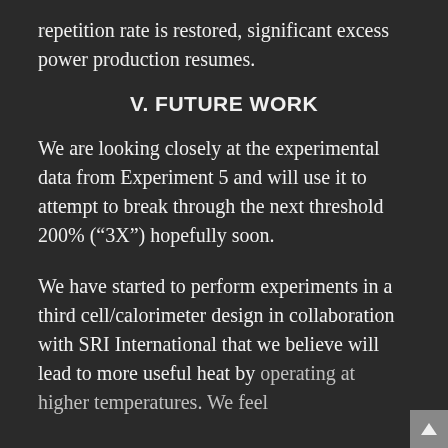repetition rate is restored, significant excess power production resumes.
V. FUTURE WORK
We are looking closely at the experimental data from Experiment 5 and will use it to attempt to break through the next threshold 200% (“3X”) hopefully soon.
We have started to perform experiments in a third cell/calorimeter design in collaboration with SRI International that we believe will lead to more useful heat by operating at higher temperatures. We feel